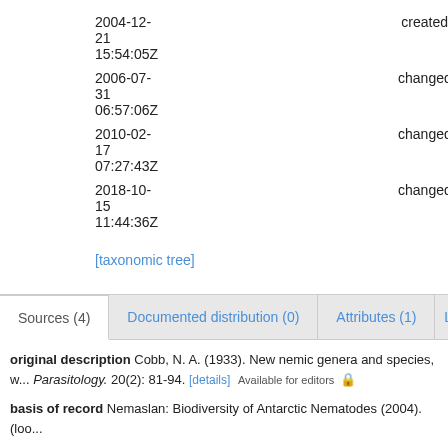| Date | Status |
| --- | --- |
| 2004-12-21 15:54:05Z | created |
| 2006-07-31 06:57:06Z | changed |
| 2010-02-17 07:27:43Z | changed |
| 2018-10-15 11:44:36Z | changed |
[taxonomic tree]
Sources (4) | Documented distribution (0) | Attributes (1) | Lin...
original description Cobb, N. A. (1933). New nemic genera and species, w... Parasitology. 20(2): 81-94. [details] Available for editors
basis of record Nemaslan: Biodiversity of Antarctic Nematodes (2004). (loo...
additional source Neave, Sheffield Airey. (1939-1996). Nomenclator Zoolog... at MBLWHOI Library]., available online at http://ubio.org/NomenclatorZoolog...
additional source Various Authors (2000). Nematode filing cabinet of the M... NemasLan Ms-Access database (published on CD-Rom, 2000) (look up in II...